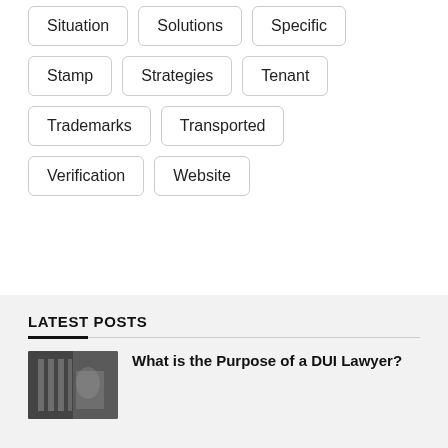Situation
Solutions
Specific
Stamp
Strategies
Tenant
Trademarks
Transported
Verification
Website
LATEST POSTS
What is the Purpose of a DUI Lawyer?